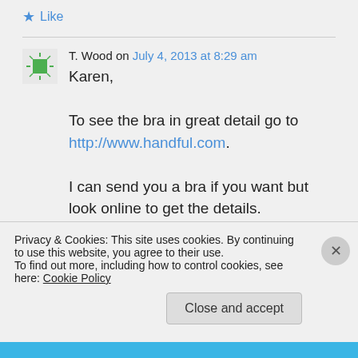★ Like
T. Wood on July 4, 2013 at 8:29 am
Karen,

To see the bra in great detail go to http://www.handful.com.

I can send you a bra if you want but look online to get the details.
Privacy & Cookies: This site uses cookies. By continuing to use this website, you agree to their use.
To find out more, including how to control cookies, see here: Cookie Policy
Close and accept